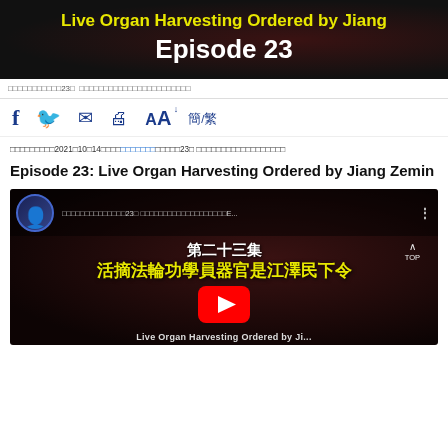Live Organ Harvesting Ordered by Jiang
Episode 23
□□□□□□□□□□□23□ □□□□□□□□□□□□□□□□□□□□□□
[Figure (infographic): Social sharing icons row: Facebook, Twitter, Mail, Print, font-size (AA), and 簡/繁 (simplified/traditional Chinese toggle)]
□□□□□□□□□2021□10□14□□□□□□□□□□□□□□23□ □□□□□□□□□□□□□□□□□□
Episode 23: Live Organ Harvesting Ordered by Jiang Zemin
[Figure (screenshot): YouTube video thumbnail showing Episode 23 of a Chinese-language documentary series. Shows a man in a suit, Chinese text '第二十三集' (Episode 23) and '活摘法輪功學員器官是江澤民下令' (Live organ harvesting of Falun Gong practitioners was ordered by Jiang Zemin), YouTube play button, and TOP navigation button.]